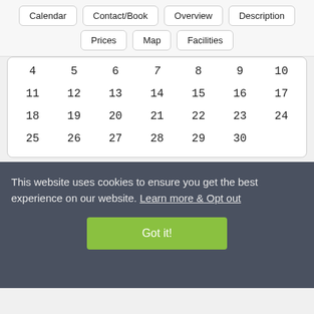[Figure (screenshot): Navigation button bar with Calendar, Contact/Book, Overview, Description, Prices, Map, Facilities buttons]
| 4 | 5 | 6 | 7 | 8 | 9 | 10 |
| 11 | 12 | 13 | 14 | 15 | 16 | 17 |
| 18 | 19 | 20 | 21 | 22 | 23 | 24 |
| 25 | 26 | 27 | 28 | 29 | 30 |  |
This website uses cookies to ensure you get the best experience on our website. Learn more & Opt out
Got it!